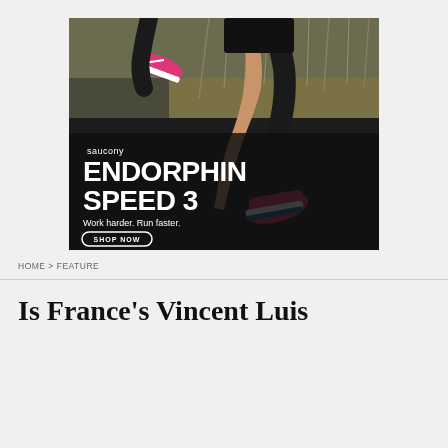[Figure (photo): Saucony Endorphin Speed 3 advertisement showing a runner's legs wearing pink Saucony running shoes on a dark asphalt road with dry grass background. Text reads: saucony, ENDORPHIN SPEED 3, Work harder. Run faster. SHOP NOW button.]
HOME > FEATURE
Is France's Vincent Luis